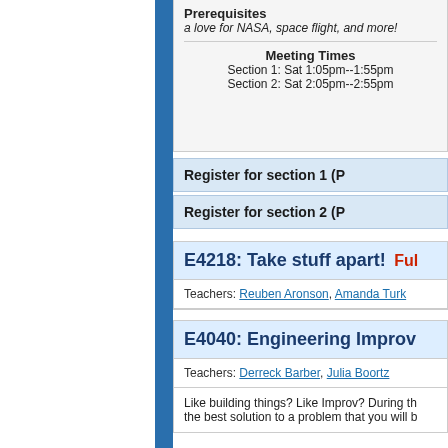Prerequisites
a love for NASA, space flight, and more!
Meeting Times
Section 1: Sat 1:05pm--1:55pm
Section 2: Sat 2:05pm--2:55pm
Register for section 1 (P…
Register for section 2 (P…
E4218: Take stuff apart! Ful…
Teachers: Reuben Aronson, Amanda Turk…
E4040: Engineering Improv…
Teachers: Derreck Barber, Julia Boortz
Like building things? Like Improv? During th… the best solution to a problem that you will b…